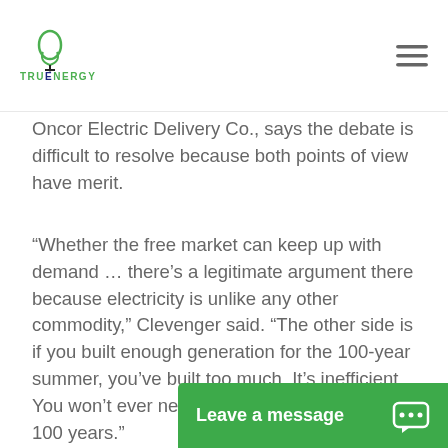TruEnergy
Oncor Electric Delivery Co., says the debate is difficult to resolve because both points of view have merit.
“Whether the free market can keep up with demand … there’s a legitimate argument there because electricity is unlike any other commodity,” Clevenger said. “The other side is if you built enough generation for the 100-year summer, you’ve built too much. It’s inefficient. You won’t ever need that much except once in 100 years.”
Clevenger said his company is neutral in this debate. Oncor owns